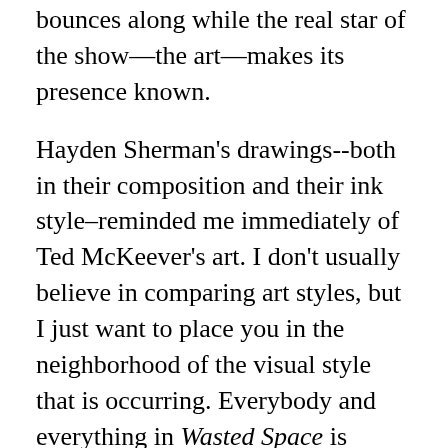bounces along while the real star of the show—the art—makes its presence known.
Hayden Sherman's drawings--both in their composition and their ink style–reminded me immediately of Ted McKeever's art. I don't usually believe in comparing art styles, but I just want to place you in the neighborhood of the visual style that is occurring. Everybody and everything in Wasted Space is square and angular and flat. Or maybe flattish? Sort of flat. The colors do an excellent job of lending a touch of additional texture and dimensionality to the art here. I think that this art would be just as entertaining if it were flat colors or black-and-white. But that's neither here nor there. The visual package deal works for me. I'm a little bit concerned about the way that the characters' facial details are handled in closeup panels. The wedge-like...